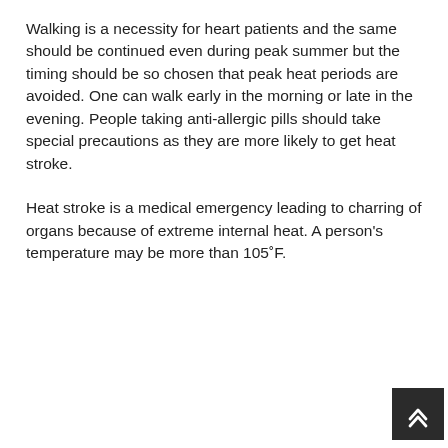Walking is a necessity for heart patients and the same should be continued even during peak summer but the timing should be so chosen that peak heat periods are avoided. One can walk early in the morning or late in the evening. People taking anti-allergic pills should take special precautions as they are more likely to get heat stroke.
Heat stroke is a medical emergency leading to charring of organs because of extreme internal heat. A person's temperature may be more than 105˚F.